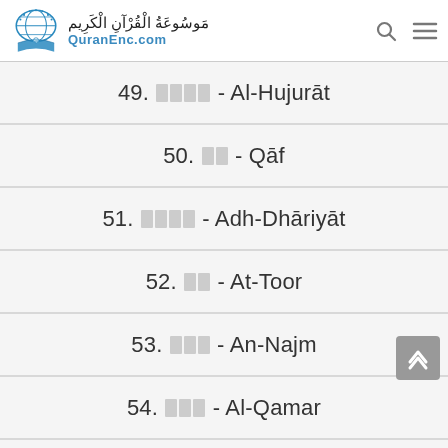QuranEnc.com - Quran Encyclopedia
49. - Al-Hujurāt
50. - Qāf
51. - Adh-Dhāriyāt
52. - At-Toor
53. - An-Najm
54. - Al-Qamar
55. - Ar-Rahmān